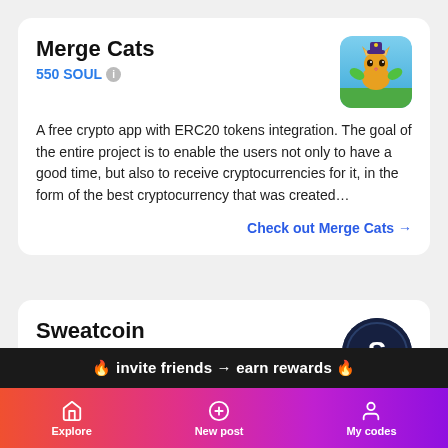Merge Cats
550 SOUL
A free crypto app with ERC20 tokens integration. The goal of the entire project is to enable the users not only to have a good time, but also to receive cryptocurrencies for it, in the form of the best cryptocurrency that was created…
Check out Merge Cats →
Sweatcoin
Walk to make money (some sort of crypyo-coins actually). Sweatcoin is an app that will give you points for exercising
🔥 invite friends → earn rewards 🔥
Explore   New post   My codes